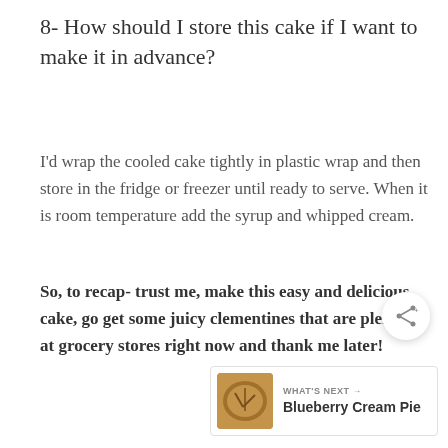8- How should I store this cake if I want to make it in advance?
I'd wrap the cooled cake tightly in plastic wrap and then store in the fridge or freezer until ready to serve. When it is room temperature add the syrup and whipped cream.
So, to recap- trust me, make this easy and delicious cake, go get some juicy clementines that are plentiful at grocery stores right now and thank me later!
[Figure (other): Share button icon (circular button with share/network icon)]
[Figure (other): What's Next navigation widget showing a pie image and 'Blueberry Cream Pie' text]